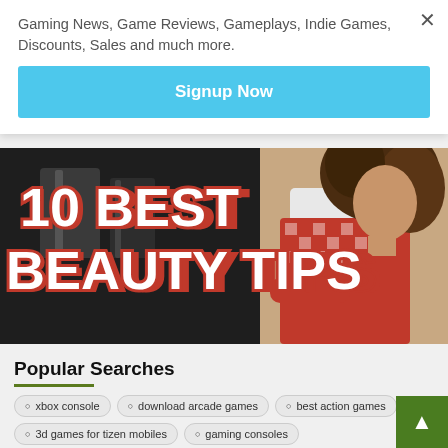Gaming News, Game Reviews, Gameplays, Indie Games, Discounts, Sales and much more.
Signup Now
[Figure (photo): Banner image showing '10 BEST BEAUTY TIPS' text overlay on a photo of a woman with curly hair wearing a red checked apron with arms crossed, against a dark blurred kitchen background.]
Popular Searches
xbox console
download arcade games
best action games
3d games for tizen mobiles
gaming consoles
Xbox Consoles
download free games on tizen store
playstation consoles
gaming news